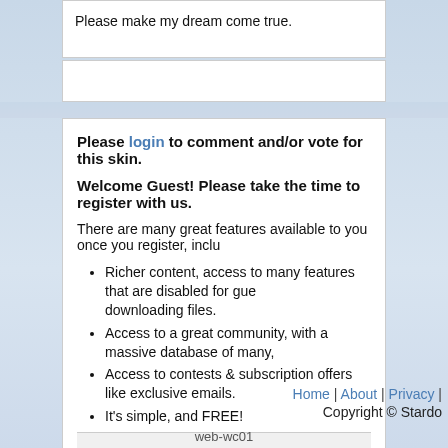Please make my dream come true.
Please login to comment and/or vote for this skin.
Welcome Guest! Please take the time to register with us.
There are many great features available to you once you register, inclu
Richer content, access to many features that are disabled for guests, like downloading files.
Access to a great community, with a massive database of many,
Access to contests & subscription offers like exclusive emails.
It's simple, and FREE!
Home | About | Privacy | Copyright © Stardo
web-wc01